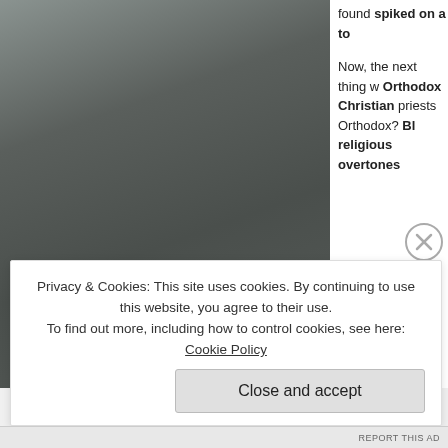[Figure (photo): Dark grey textured background image panel on the left side, possibly a close-up of a rough surface or torn material.]
found spiked on a to
Now, the next thing w Orthodox Christian priests Orthodox? Bl religious overtones
Privacy & Cookies: This site uses cookies. By continuing to use this website, you agree to their use.
To find out more, including how to control cookies, see here: Cookie Policy
Close and accept